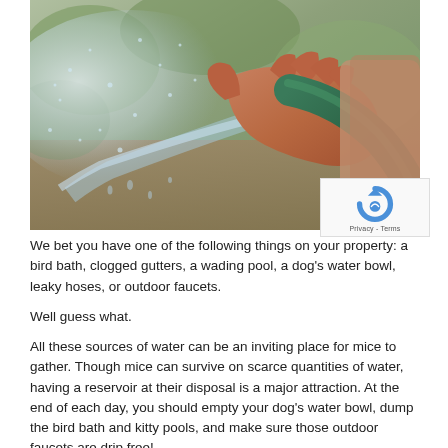[Figure (photo): Close-up of a person's hand holding a green garden hose spraying water, with blurred green foliage and muddy ground in the background.]
We bet you have one of the following things on your property: a bird bath, clogged gutters, a wading pool, a dog's water bowl, leaky hoses, or outdoor faucets.
Well guess what.
All these sources of water can be an inviting place for mice to gather. Though mice can survive on scarce quantities of water, having a reservoir at their disposal is a major attraction. At the end of each day, you should empty your dog's water bowl, dump the bird bath and kitty pools, and make sure those outdoor faucets are drip free!